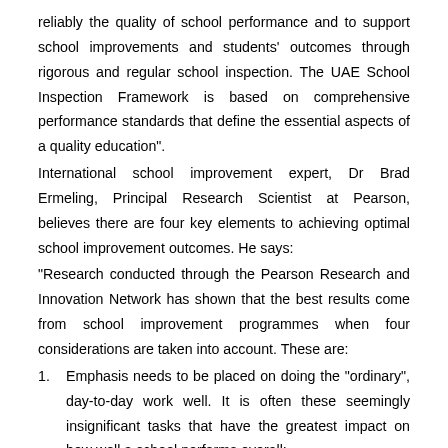reliably the quality of school performance and to support school improvements and students' outcomes through rigorous and regular school inspection. The UAE School Inspection Framework is based on comprehensive performance standards that define the essential aspects of a quality education".
International school improvement expert, Dr Brad Ermeling, Principal Research Scientist at Pearson, believes there are four key elements to achieving optimal school improvement outcomes. He says:
“Research conducted through the Pearson Research and Innovation Network has shown that the best results come from school improvement programmes when four considerations are taken into account. These are:
Emphasis needs to be placed on doing the “ordinary”, day-to-day work well. It is often these seemingly insignificant tasks that have the greatest impact on how well a school performs overall;
The detail is exceedingly important – it is one thing to come up with a great idea or vision, but often the most difficult aspects of